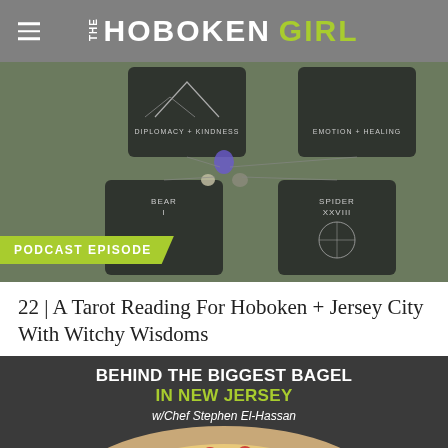THE HOBOKEN GIRL
[Figure (photo): Overhead view of tarot cards laid out on a dark green fabric surface with crystals/stones between them. Cards visible include 'DIPLOMACY + KINDNESS', 'EMOTION + HEALING', 'BEAR I', and 'SPIDER XXVIII'. A green 'PODCAST EPISODE' badge overlays the bottom left.]
22 | A Tarot Reading For Hoboken + Jersey City With Witchy Wisdoms
[Figure (photo): Dark background image showing text 'BEHIND THE BIGGEST BAGEL IN NEW JERSEY w/Chef Stephen El-Hassan' with a large pepperoni pizza/bagel visible at the bottom.]